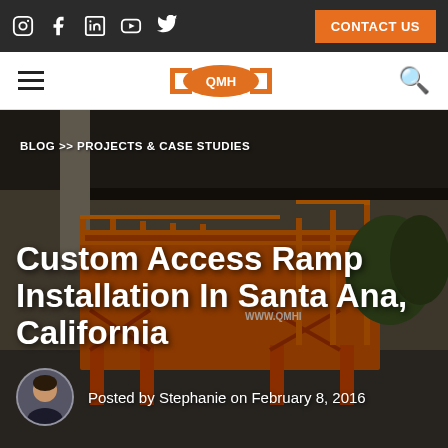Social icons: Instagram, Facebook, LinkedIn, YouTube, Twitter | CONTACT US
[Figure (logo): QMH company logo — hamburger menu on left, QMH badge logo in center, search icon on right]
[Figure (photo): Outdoor photo of an orange custom access ramp installation — steel ramp structure with orange handrails and supports, under a canopy/overhang at a warehouse or industrial facility. URL watermark: WWW.QMHI visible on ramp.]
BLOG >> PROJECTS & CASE STUDIES
Custom Access Ramp Installation In Santa Ana, California
Posted by Stephanie on February 8, 2016